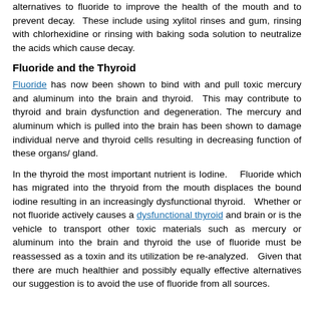alternatives to fluoride to improve the health of the mouth and to prevent decay.  These include using xylitol rinses and gum, rinsing with chlorhexidine or rinsing with baking soda solution to neutralize the acids which cause decay.
Fluoride and the Thyroid
Fluoride has now been shown to bind with and pull toxic mercury and aluminum into the brain and thyroid.  This may contribute to thyroid and brain dysfunction and degeneration. The mercury and aluminum which is pulled into the brain has been shown to damage individual nerve and thyroid cells resulting in decreasing function of these organs/ gland.
In the thyroid the most important nutrient is Iodine.    Fluoride which has migrated into the thryoid from the mouth displaces the bound iodine resulting in an increasingly dysfunctional thyroid.   Whether or not fluoride actively causes a dysfunctional thyroid and brain or is the vehicle to transport other toxic materials such as mercury or aluminum into the brain and thyroid the use of fluoride must be reassessed as a toxin and its utilization be re-analyzed.   Given that there are much healthier and possibly equally effective alternatives our suggestion is to avoid the use of fluoride from all sources.